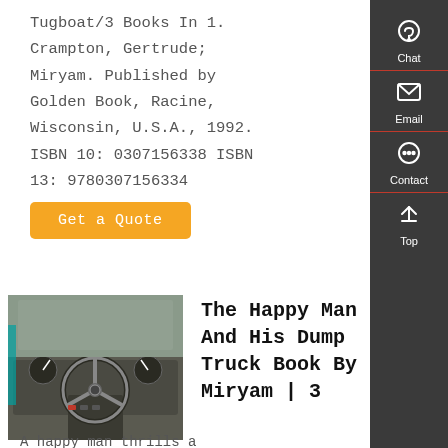Tugboat/3 Books In 1. Crampton, Gertrude; Miryam. Published by Golden Book, Racine, Wisconsin, U.S.A., 1992. ISBN 10: 0307156338 ISBN 13: 9780307156334
Get a Quote
[Figure (photo): Interior view of a truck cab showing the steering wheel and dashboard]
The Happy Man And His Dump Truck Book By Miryam | 3
A happy man thrills a